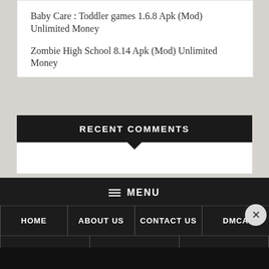Baby Care : Toddler games 1.6.8 Apk (Mod) Unlimited Money
Zombie High School 8.14 Apk (Mod) Unlimited Money
RECENT COMMENTS
≡ MENU HOME | ABOUT US | CONTACT US | DMCA | PRIVACY POLICY | SITEMAP | TERMS & CONDITIONS